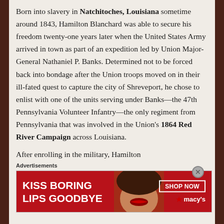Born into slavery in Natchitoches, Louisiana sometime around 1843, Hamilton Blanchard was able to secure his freedom twenty-one years later when the United States Army arrived in town as part of an expedition led by Union Major-General Nathaniel P. Banks. Determined not to be forced back into bondage after the Union troops moved on in their ill-fated quest to capture the city of Shreveport, he chose to enlist with one of the units serving under Banks—the 47th Pennsylvania Volunteer Infantry—the only regiment from Pennsylvania that was involved in the Union's 1864 Red River Campaign across Louisiana.
After enrolling in the military, Hamilton
Advertisements
[Figure (infographic): Advertisement banner for Macy's: red background with white text 'KISS BORING LIPS GOODBYE', a photo of lips/face, and 'SHOP NOW' button with Macy's star logo]